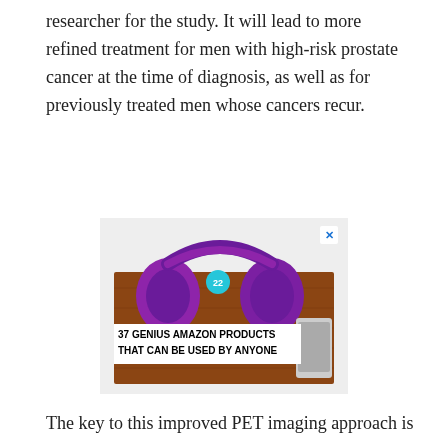researcher for the study. It will lead to more refined treatment for men with high-risk prostate cancer at the time of diagnosis, as well as for previously treated men whose cancers recur.
[Figure (photo): Advertisement showing purple headphones on a wooden surface with an overlay text reading '37 GENIUS AMAZON PRODUCTS THAT CAN BE USED BY ANYONE' and a badge showing '22'. There is a close (X) button in the top right corner.]
The key to this improved PET imaging approach is an